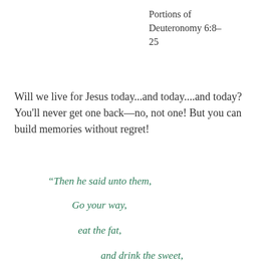Portions of Deuteronomy 6:8–25
Will we live for Jesus today...and today....and today?  You'll never get one back—no, not one!  But you can build memories without regret!
“Then he said unto them,
Go your way,
eat the fat,
and drink the sweet,